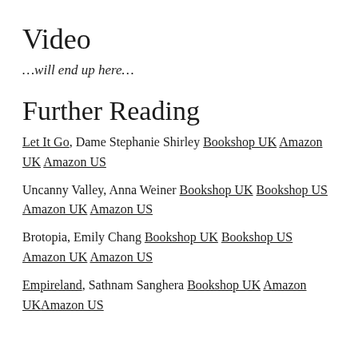Video
…will end up here…
Further Reading
Let It Go, Dame Stephanie Shirley Bookshop UK Amazon UK Amazon US
Uncanny Valley, Anna Weiner Bookshop UK Bookshop US Amazon UK Amazon US
Brotopia, Emily Chang Bookshop UK Bookshop US Amazon UK Amazon US
Empireland, Sathnam Sanghera Bookshop UK Amazon UKAmazon US